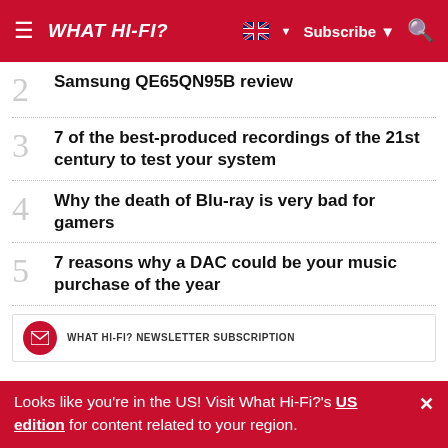WHAT HI-FI?
2 Samsung QE65QN95B review
3 7 of the best-produced recordings of the 21st century to test your system
4 Why the death of Blu-ray is very bad for gamers
5 7 reasons why a DAC could be your music purchase of the year
Looks like you're in the US! Visit What Hi-Fi?'s US edition for content related to your region.